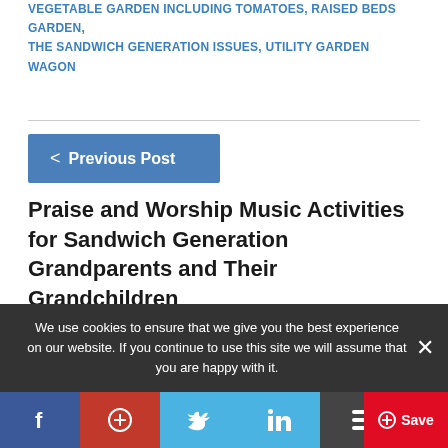VEGETABLE GARDEN INCLUDING TOMATOES, RAISED BEDS GARDEN, THE SANDWICH GENERATION ISSUES, UTILITY GARDEN WAGON
< Previous Post
Praise and Worship Music Activities for Sandwich Generation Grandparents and Their Grandchildren
10 COMMENTS
Next Post >
We use cookies to ensure that we give you the best experience on our website. If you continue to use this site we will assume that you are happy with it.